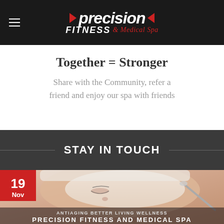precision FITNESS & Medical Spa
Together = Stronger
Share with the Community, refer a friend and enjoy our spa with friends
STAY IN TOUCH
[Figure (photo): Woman receiving facial spa treatment with white cream applied to face, close-up view]
ANTIAGING BETTER LIVING WELLNESS
PRECISION FITNESS AND MEDICAL SPA